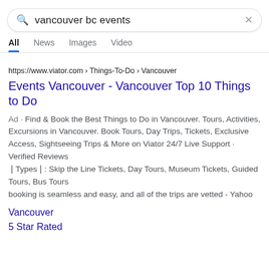[Figure (screenshot): Google search bar with query 'vancouver bc events' and close (X) button]
All   News   Images   Video
https://www.viator.com › Things-To-Do › Vancouver
Events Vancouver - Vancouver Top 10 Things to Do
Ad · Find & Book the Best Things to Do in Vancouver. Tours, Activities, Excursions in Vancouver. Book Tours, Day Trips, Tickets, Exclusive Access, Sightseeing Trips & More on Viator 24/7 Live Support · Verified Reviews
[Types]: Skip the Line Tickets, Day Tours, Museum Tickets, Guided Tours, Bus Tours
booking is seamless and easy, and all of the trips are vetted - Yahoo
Vancouver
5 Star Rated